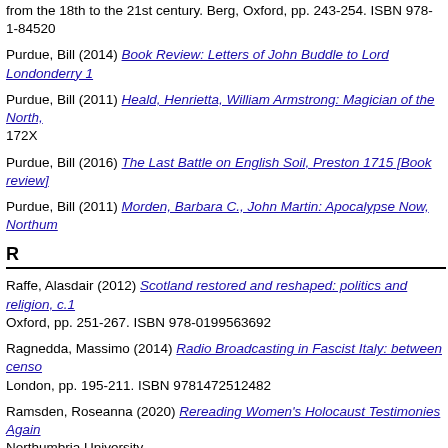from the 18th to the 21st century. Berg, Oxford, pp. 243-254. ISBN 978-1-84520
Purdue, Bill (2014) Book Review: Letters of John Buddle to Lord Londonderry 1
Purdue, Bill (2011) Heald, Henrietta, William Armstrong: Magician of the North, 172X
Purdue, Bill (2016) The Last Battle on English Soil, Preston 1715 [Book review]
Purdue, Bill (2011) Morden, Barbara C., John Martin: Apocalypse Now, Northum
R
Raffe, Alasdair (2012) Scotland restored and reshaped: politics and religion, c.1 Oxford, pp. 251-267. ISBN 978-0199563692
Ragnedda, Massimo (2014) Radio Broadcasting in Fascist Italy: between censo London, pp. 195-211. ISBN 9781472512482
Ramsden, Roseanna (2020) Rereading Women's Holocaust Testimonies Again Northumbria University.
Reeves, Christopher (2016) Policy for conservation of heritage railway signal bo 1756-7505
Reid, Colin (2014) Fenians and Ribbonmen: The Development of Republican P pp. 749-751. ISSN 0013-8266
Reid, Colin (2014) The Irish Lord Lieutenancy c.1541-1922 (book review). Jour
Reid, Colin (2019) The Irish Party and the Volunteers: politics and the Harr